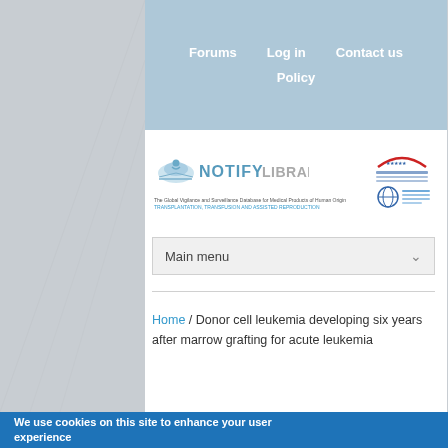Forums   Log in   Contact us   Policy
[Figure (logo): Notify Library logo with tagline: The Global Vigilance and Surveillance Database for Medical Products of Human Origin. TRANSPLANTATION, TRANSFUSION AND ASSISTED REPRODUCTION. WHO logo on right side.]
Main menu
Home / Donor cell leukemia developing six years after marrow grafting for acute leukemia
We use cookies on this site to enhance your user experience